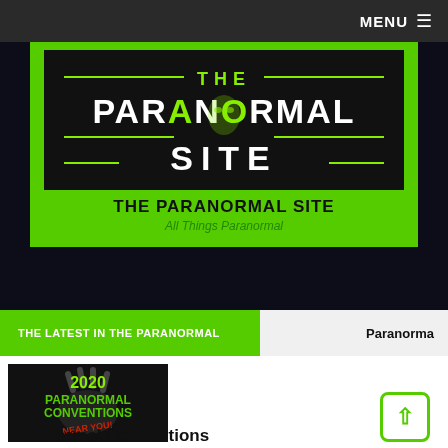MENU ≡
[Figure (logo): The Paranormal Site logo — black background with green decorative lines, alien head, and bold white/green text reading THE PARANORMAL SITE]
THE PARANORMAL SITE
All Things Paranormal
THE LATEST IN THE PARANORMAL
Paranorma
[Figure (illustration): Dark image showing ghostly hands with green text: 2020 PARANORMAL CONVENTIONS NEAR YOU!]
Paranormal Conventions